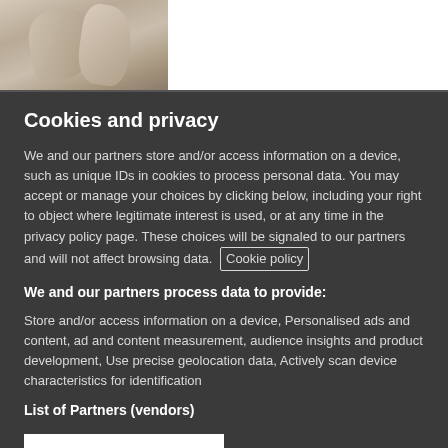[Figure (photo): Partial view of a classical stone statue showing draped fabric/cloth, beige/tan tones, cropped at top.]
Cookies and privacy
We and our partners store and/or access information on a device, such as unique IDs in cookies to process personal data. You may accept or manage your choices by clicking below, including your right to object where legitimate interest is used, or at any time in the privacy policy page. These choices will be signaled to our partners and will not affect browsing data. Cookie policy
We and our partners process data to provide:
Store and/or access information on a device, Personalised ads and content, ad and content measurement, audience insights and product development, Use precise geolocation data, Actively scan device characteristics for identification
List of Partners (vendors)
I Accept